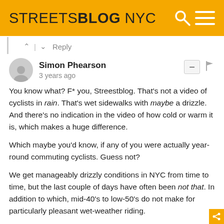STREETSBLOG NYC
^ | v Reply
Simon Phearson
3 years ago
You know what? F* you, Streestblog. That's not a video of cyclists in rain. That's wet sidewalks with maybe a drizzle. And there's no indication in the video of how cold or warm it is, which makes a huge difference.

Which maybe you'd know, if any of you were actually year-round commuting cyclists. Guess not?

We get manageably drizzly conditions in NYC from time to time, but the last couple of days have often been not that. In addition to which, mid-40's to low-50's do not make for particularly pleasant wet-weather riding.

Also, infrastructure makes a big difference in wet-weather riding. Again, something you ought to understand. If you've got well-traveled, separated bike paths designed for bike